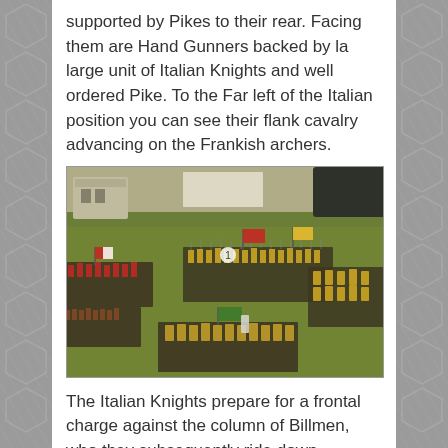supported by Pikes to their rear. Facing them are Hand Gunners backed by la large unit of Italian Knights and well ordered Pike. To the Far left of the Italian position you can see their flank cavalry advancing on the Frankish archers.
[Figure (photo): Photograph of a tabletop wargame showing painted miniature soldiers arranged in battle formation on a green felt surface. Multiple units visible including cavalry and infantry with pikes, flags, and banners. Stone building terrain piece visible in background.]
The Italian Knights prepare for a frontal charge against the column of Billmen, who they subsequently ride down